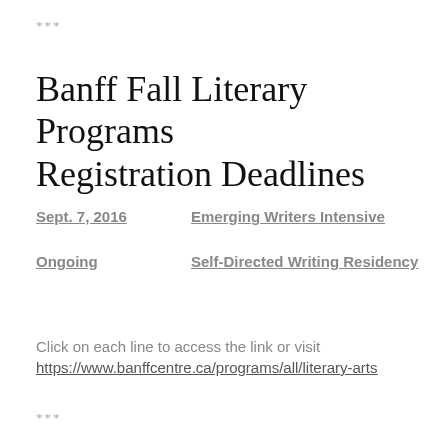***
Banff Fall Literary Programs Registration Deadlines
Sept. 7, 2016    Emerging Writers Intensive
Ongoing    Self-Directed Writing Residency
Click on each line to access the link or visit
https://www.banffcentre.ca/programs/all/literary-arts
***